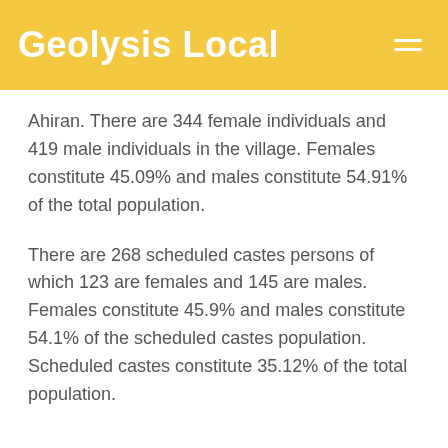Geolysis Local
Ahiran. There are 344 female individuals and 419 male individuals in the village. Females constitute 45.09% and males constitute 54.91% of the total population.
There are 268 scheduled castes persons of which 123 are females and 145 are males. Females constitute 45.9% and males constitute 54.1% of the scheduled castes population. Scheduled castes constitute 35.12% of the total population.